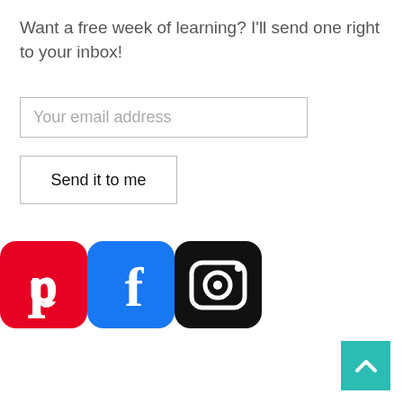Want a free week of learning? I'll send one right to your inbox!
[Figure (screenshot): Email input field with placeholder text 'Your email address']
[Figure (screenshot): Button labeled 'Send it to me']
[Figure (infographic): Social media icons: Pinterest (red), Facebook (blue), Instagram (black)]
[Figure (other): Back to top button with up chevron in teal/cyan color]